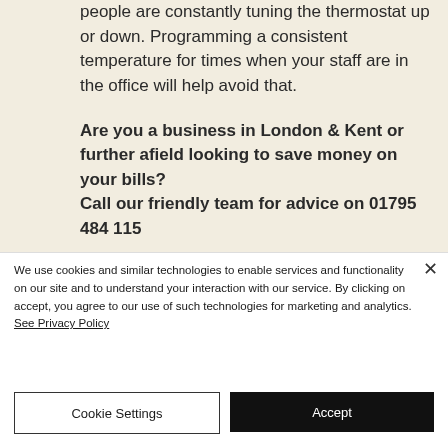people are constantly tuning the thermostat up or down. Programming a consistent temperature for times when your staff are in the office will help avoid that.
Are you a business in London & Kent or further afield looking to save money on your bills? Call our friendly team for advice on 01795 484 115
We use cookies and similar technologies to enable services and functionality on our site and to understand your interaction with our service. By clicking on accept, you agree to our use of such technologies for marketing and analytics. See Privacy Policy
Cookie Settings
Accept